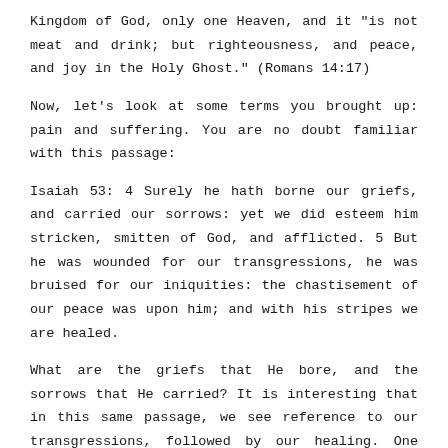Kingdom of God, only one Heaven, and it "is not meat and drink; but righteousness, and peace, and joy in the Holy Ghost." (Romans 14:17)
Now, let's look at some terms you brought up: pain and suffering. You are no doubt familiar with this passage:
Isaiah 53: 4 Surely he hath borne our griefs, and carried our sorrows: yet we did esteem him stricken, smitten of God, and afflicted. 5 But he was wounded for our transgressions, he was bruised for our iniquities: the chastisement of our peace was upon him; and with his stripes we are healed.
What are the griefs that He bore, and the sorrows that He carried? It is interesting that in this same passage, we see reference to our transgressions, followed by our healing. One question I asked myself when looking at this familiar passage as if for the first time: If the griefs He bore